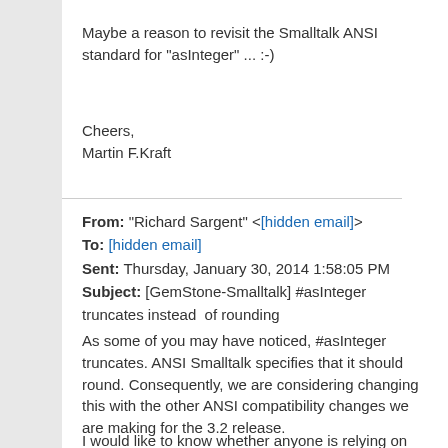Maybe a reason to revisit the Smalltalk ANSI standard for "asInteger" ... :-)
Cheers,
Martin F.Kraft
From: "Richard Sargent" <[hidden email]>
To: [hidden email]
Sent: Thursday, January 30, 2014 1:58:05 PM
Subject: [GemStone-Smalltalk] #asInteger truncates instead  of rounding
As some of you may have noticed, #asInteger truncates. ANSI Smalltalk specifies that it should round. Consequently, we are considering changing this with the other ANSI compatibility changes we are making for the 3.2 release.
I would like to know whether anyone is relying on the the truncation.